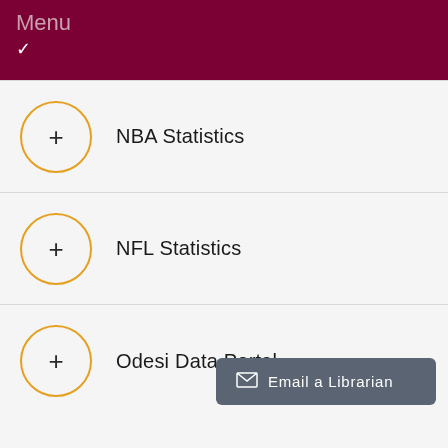Menu
NBA Statistics
NFL Statistics
Odesi Data Portal
Email a Librarian